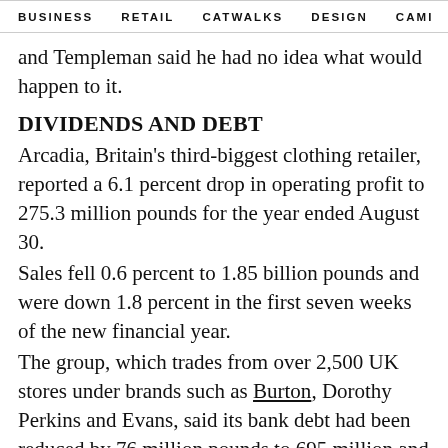BUSINESS   RETAIL   CATWALKS   DESIGN   CAMI >
and Templeman said he had no idea what would happen to it.
DIVIDENDS AND DEBT
Arcadia, Britain's third-biggest clothing retailer, reported a 6.1 percent drop in operating profit to 275.3 million pounds for the year ended August 30.
Sales fell 0.6 percent to 1.85 billion pounds and were down 1.8 percent in the first seven weeks of the new financial year.
The group, which trades from over 2,500 UK stores under brands such as Burton, Dorothy Perkins and Evans, said its bank debt had been reduced by 76 million pounds to 695 million and that it was not paying out a dividend.
In 2005, Green took a dividend of 1.2 billion pounds, the biggest payout to an individual in British corporate...